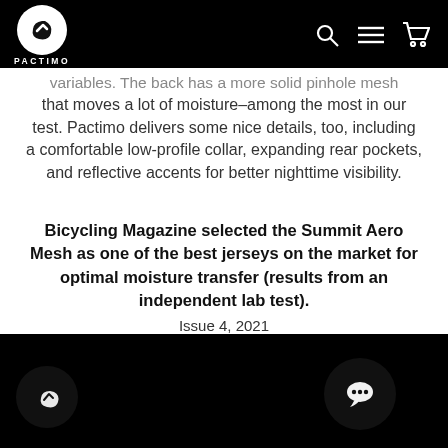PACTIMO
variables. The back has a more solid pinhole mesh that moves a lot of moisture–among the most in our test. Pactimo delivers some nice details, too, including a comfortable low-profile collar, expanding rear pockets, and reflective accents for better nighttime visibility.
Bicycling Magazine selected the Summit Aero Mesh as one of the best jerseys on the market for optimal moisture transfer (results from an independent lab test).
Issue 4, 2021